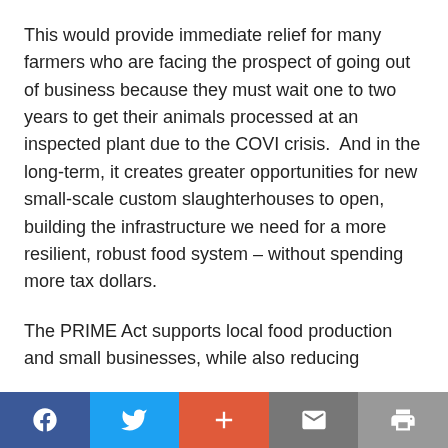This would provide immediate relief for many farmers who are facing the prospect of going out of business because they must wait one to two years to get their animals processed at an inspected plant due to the COVI crisis.  And in the long-term, it creates greater opportunities for new small-scale custom slaughterhouses to open, building the infrastructure we need for a more resilient, robust food system – without spending more tax dollars.
The PRIME Act supports local food production and small businesses, while also reducing
Share bar: Facebook, Twitter, +, Email, Print